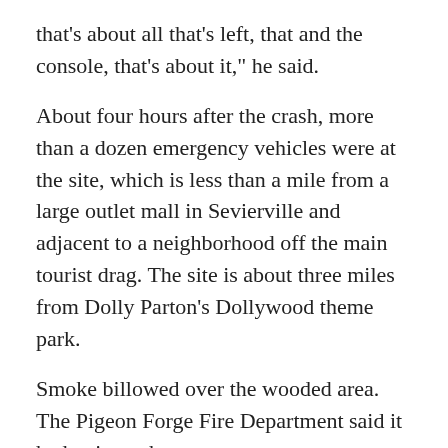that's about all that's left, that and the console, that's about it," he said.
About four hours after the crash, more than a dozen emergency vehicles were at the site, which is less than a mile from a large outlet mall in Sevierville and adjacent to a neighborhood off the main tourist drag. The site is about three miles from Dolly Parton's Dollywood theme park.
Smoke billowed over the wooded area. The Pigeon Forge Fire Department said it had units at the scene.
Shawn Matern said he was inside his parents' house when he heard a loud boom. "That's when we came out and saw the second explosion right before our eyes," he said.